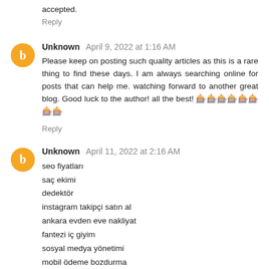accepted.
Reply
Unknown  April 9, 2022 at 1:16 AM
Please keep on posting such quality articles as this is a rare thing to find these days. I am always searching online for posts that can help me. watching forward to another great blog. Good luck to the author! all the best! 🎰🎰🎰🎰🎰🎰🎰🎰
Reply
Unknown  April 11, 2022 at 2:16 AM
seo fiyatları
saç ekimi
dedektör
instagram takipçi satın al
ankara evden eve nakliyat
fantezi iç giyim
sosyal medya yönetimi
mobil ödeme bozdurma